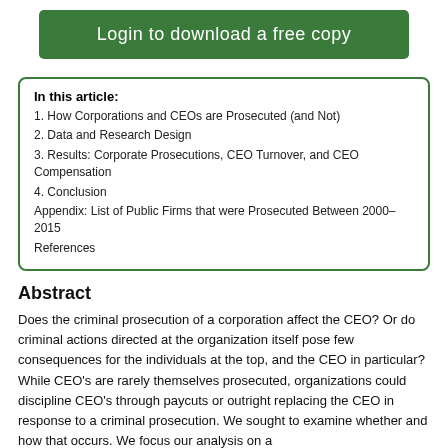Login to download a free copy
In this article:
1. How Corporations and CEOs are Prosecuted (and Not)
2. Data and Research Design
3. Results: Corporate Prosecutions, CEO Turnover, and CEO Compensation
4. Conclusion
Appendix: List of Public Firms that were Prosecuted Between 2000–2015
References
Abstract
Does the criminal prosecution of a corporation affect the CEO? Or do criminal actions directed at the organization itself pose few consequences for the individuals at the top, and the CEO in particular? While CEO's are rarely themselves prosecuted, organizations could discipline CEO's through paycuts or outright replacing the CEO in response to a criminal prosecution. We sought to examine whether and how that occurs. We focus our analysis on a